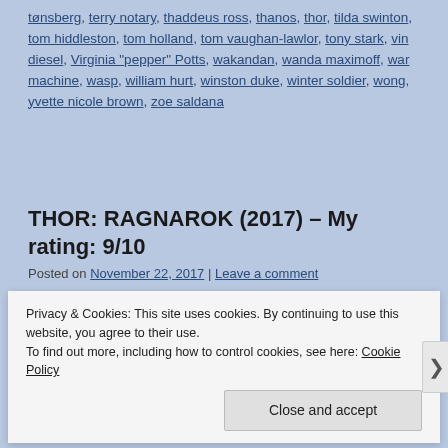tønsberg, terry notary, thaddeus ross, thanos, thor, tilda swinton, tom hiddleston, tom holland, tom vaughan-lawlor, tony stark, vin diesel, Virginia "pepper" Potts, wakandan, wanda maximoff, war machine, wasp, william hurt, winston duke, winter soldier, wong, yvette nicole brown, zoe saldana
THOR: RAGNAROK (2017) – My rating: 9/10
Posted on November 22, 2017 | Leave a comment
[Figure (photo): Movie poster/image for Thor: Ragnarok showing colorful characters against orange/green background with a cursor hand icon overlay]
Privacy & Cookies: This site uses cookies. By continuing to use this website, you agree to their use.
To find out more, including how to control cookies, see here: Cookie Policy
Close and accept